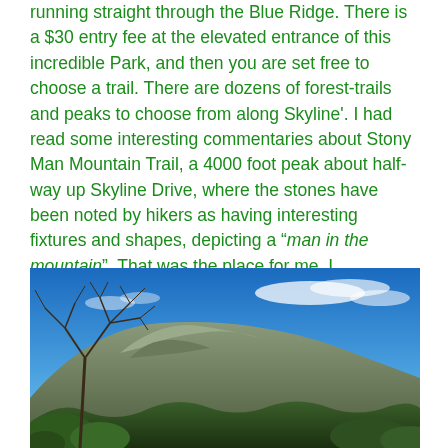running straight through the Blue Ridge. There is a $30 entry fee at the elevated entrance of this incredible Park, and then you are set free to choose a trail. There are dozens of forest-trails and peaks to choose from along Skyline'. I had read some interesting commentaries about Stony Man Mountain Trail, a 4000 foot peak about half-way up Skyline Drive, where the stones have been noted by hikers as having interesting fixtures and shapes, depicting a "man in the mountain". That was the place for me. I immediately I was struck by what I saw. There was magic in this place, right from the start.
[Figure (photo): Outdoor nature photograph showing a rocky mountain peak under a bright blue sky with scattered white clouds. A bare-branched tree is visible in the foreground on the left, with green shrubby vegetation at the bottom. The mountain slope is covered with sparse vegetation and exposed rock.]